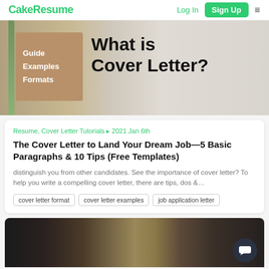CakeResume | Log In | Sign Up
[Figure (screenshot): Hero banner image showing 'What is Cover Letter?' with brown box listing Guide, Examples, Formats and background of papers/plants]
Resume, Cover Letter Tutorials ▸ 2021 Jan 6th
The Cover Letter to Land Your Dream Job—5 Basic Paragraphs & 10 Tips (Free Templates)
distinguish you from other candidates. See the importance of cover letter? To help you write a compelling cover letter, there are tips, dos &...
cover letter format
cover letter examples
job application letter
[Figure (photo): Partial view of tools hanging on a wooden wall — saws, planes, pliers and other workshop tools]